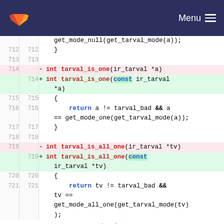GitLab navigation header with Menu
[Figure (screenshot): Code diff view showing changes to tarval_is_one and tarval_is_all_one function signatures, adding const qualifier to ir_tarval parameters. Lines 712-721 shown with old (red) and new (green) versions.]
Imprint